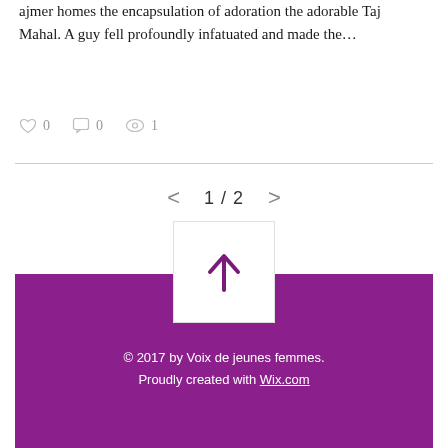ajmer homes the encapsulation of adoration the adorable Taj Mahal. A guy fell profoundly infatuated and made the…
♡ 0   ☐ 0   ◎ 1
< 1 / 2 >
[Figure (illustration): An upward arrow icon inside a white square box, centered above a purple footer background]
© 2017 by Voix de jeunes femmes. Proudly created with Wix.com